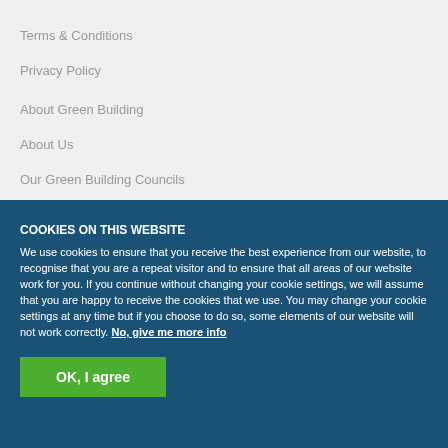Terms & Conditions
Privacy Policy
About Green Building
About Us
Our Green Building Councils
COOKIES ON THIS WEBSITE
We use cookies to ensure that you receive the best experience from our website, to recognise that you are a repeat visitor and to ensure that all areas of our website work for you. If you continue without changing your cookie settings, we will assume that you are happy to receive the cookies that we use. You may change your cookie settings at any time but if you choose to do so, some elements of our website will not work correctly. No, give me more info
OK, I agree